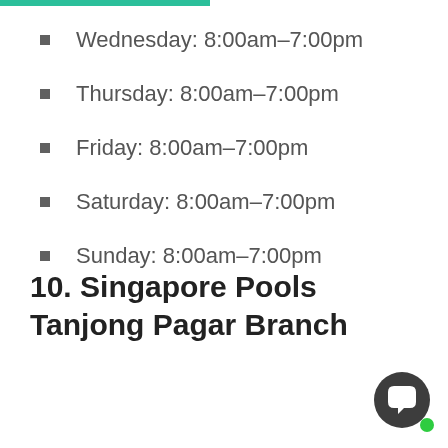Wednesday: 8:00am–7:00pm
Thursday: 8:00am–7:00pm
Friday: 8:00am–7:00pm
Saturday: 8:00am–7:00pm
Sunday: 8:00am–7:00pm
10. Singapore Pools Tanjong Pagar Branch